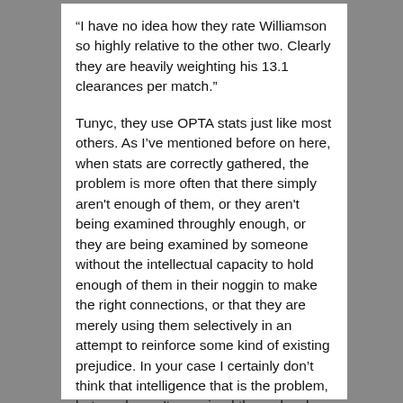“I have no idea how they rate Williamson so highly relative to the other two. Clearly they are heavily weighting his 13.1 clearances per match.”
Tunyc, they use OPTA stats just like most others. As I’ve mentioned before on here, when stats are correctly gathered, the problem is more often that there simply aren't enough of them, or they aren't being examined throughly enough, or they are being examined by someone without the intellectual capacity to hold enough of them in their noggin to make the right connections, or that they are merely using them selectively in an attempt to reinforce some kind of existing prejudice. In your case I certainly don’t think that intelligence that is the problem, but you haven’t examined them closely enough to say “Clearly they are heavily weighting his 13.1 clearances per match. It is the only statistical area where he stands out.”